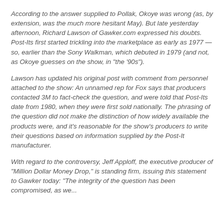According to the answer supplied to Pollak, Okoye was wrong (as, by extension, was the much more hesitant May). But late yesterday afternoon, Richard Lawson of Gawker.com expressed his doubts. Post-Its first started trickling into the marketplace as early as 1977 — so, earlier than the Sony Walkman, which debuted in 1979 (and not, as Okoye guesses on the show, in "the '90s").
Lawson has updated his original post with comment from personnel attached to the show: An unnamed rep for Fox says that producers contacted 3M to fact-check the question, and were told that Post-Its date from 1980, when they were first sold nationally. The phrasing of the question did not make the distinction of how widely available the products were, and it's reasonable for the show's producers to write their questions based on information supplied by the Post-It manufacturer.
With regard to the controversy, Jeff Apploff, the executive producer of "Million Dollar Money Drop," is standing firm, issuing this statement to Gawker today: "The integrity of the question has been compromised, as we...